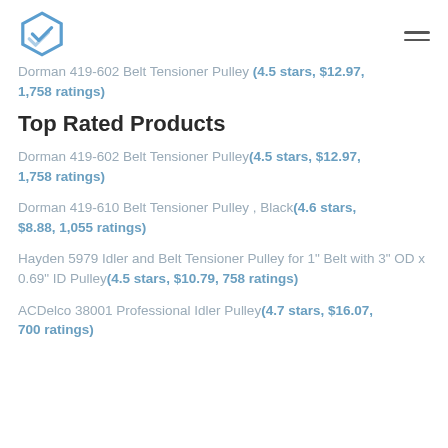Logo and navigation menu
Dorman 419-602 Belt Tensioner Pulley (4.5 stars, $12.97, 1,758 ratings)
Top Rated Products
Dorman 419-602 Belt Tensioner Pulley(4.5 stars, $12.97, 1,758 ratings)
Dorman 419-610 Belt Tensioner Pulley , Black(4.6 stars, $8.88, 1,055 ratings)
Hayden 5979 Idler and Belt Tensioner Pulley for 1" Belt with 3" OD x 0.69" ID Pulley(4.5 stars, $10.79, 758 ratings)
ACDelco 38001 Professional Idler Pulley(4.7 stars, $16.07, 700 ratings)